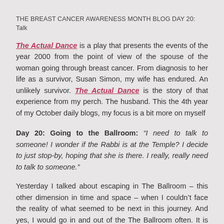THE BREAST CANCER AWARENESS MONTH BLOG DAY 20: Talk
The Actual Dance is a play that presents the events of the year 2000 from the point of view of the spouse of the woman going through breast cancer.  From diagnosis to her life as a survivor, Susan Simon, my wife has endured.  An unlikely survivor.  The Actual Dance is the story of that experience from my perch.  The husband.  This the 4th year of my October daily blogs, my focus is a bit more on myself
Day 20:  Going to the Ballroom: “I need to talk to someone!  I wonder if the Rabbi is at the Temple?  I decide to just stop-by, hoping that she is there.  I really, really need to talk to someone.”
Yesterday I talked about escaping in The Ballroom – this other dimension in time and space – when I couldn’t face the reality of what seemed to be next in this journey.  And yes, I would go in and out of the The Ballroom often.  It is where I would mentally